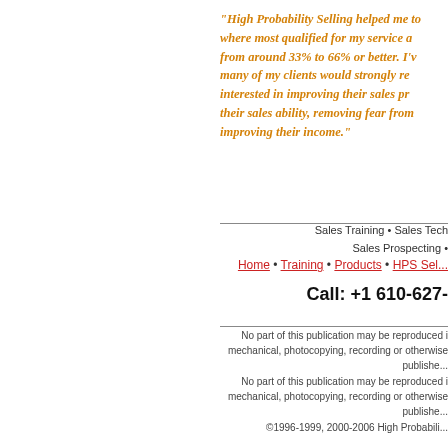"High Probability Selling helped me to understand where most qualified for my service are, and helped me to increase my conversion from around 33% to 66% or better. I've found that many of my clients would strongly recommend me to anyone interested in improving their sales process, improving their sales ability, removing fear from the process, and improving their income."
Sales Training • Sales Tech
Sales Prospecting •
Home • Training • Products • HPS Sel...
Call:  +1  610-627-
No part of this publication may be reproduced in mechanical, photocopying, recording or otherwise, publishe...
No part of this publication may be reproduced in mechanical, photocopying, recording or otherwise, publishe...
©1996-1999, 2000-2006 High Probabili...